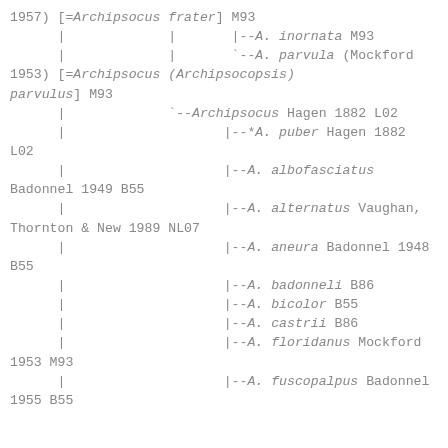1957) [=Archipsocus frater] M93
      |             |       |--A. inornata M93
      |             |       `--A. parvula (Mockford 1953) [=Archipsocus (Archipsocopsis) parvulus] M93
      |             `--Archipsocus Hagen 1882 L02
      |                    |--*A. puber Hagen 1882 L02
      |                    |--A. albofasciatus Badonnel 1949 B55
      |                    |--A. alternatus Vaughan, Thornton & New 1989 NL07
      |                    |--A. aneura Badonnel 1948 B55
      |                    |--A. badonneli B86
      |                    |--A. bicolor B55
      |                    |--A. castrii B86
      |                    |--A. floridanus Mockford 1953 M93
      |                    |--A. fuscopalpus Badonnel 1955 B55